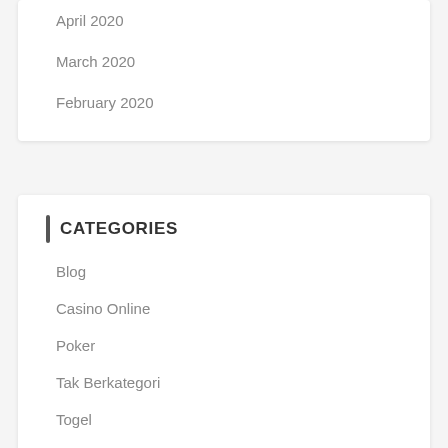April 2020
March 2020
February 2020
CATEGORIES
Blog
Casino Online
Poker
Tak Berkategori
Togel